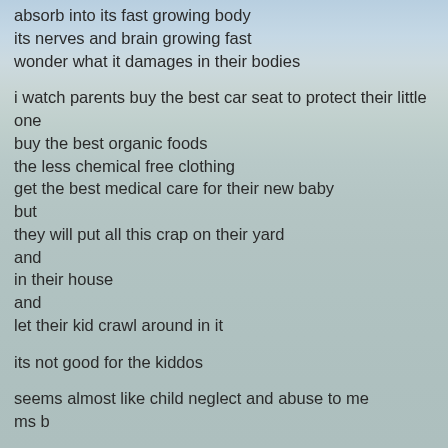absorb into its fast growing body
its nerves and brain growing fast
wonder what it damages in their bodies

i watch parents buy the best car seat to protect their little one
buy the best organic foods
the less chemical free clothing
get the best medical care for their new baby
but
they will put all this crap on their yard
and
in their house
and
let their kid crawl around in it

its not good for the kiddos

seems almost like child neglect and abuse to me
ms b

then
i see folks putting all kinds of stuff on the yard